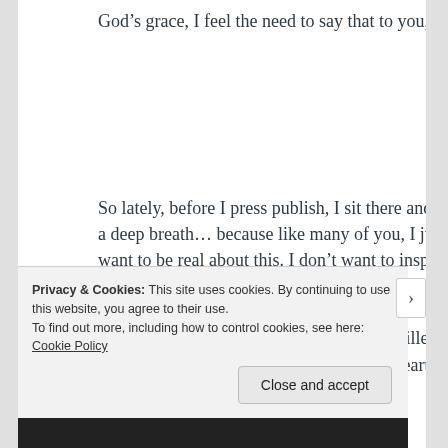God’s grace, I feel the need to say that to you, too.
So lately, before I press publish, I sit there and take a deep breath… because like many of you, I just want to be real about this. I don’t want to inspire you with just inspiring thoughts. I want it so that if you were a fly on the wall in my home, on a frazzled Monday morning in the face of spilled milk and burnt toast, you’d see the same heart and
Privacy & Cookies: This site uses cookies. By continuing to use this website, you agree to their use.
To find out more, including how to control cookies, see here: Cookie Policy
Close and accept